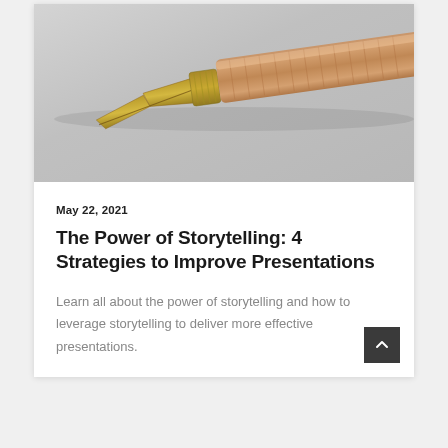[Figure (photo): Close-up photograph of a gold fountain pen nib on a light gray background]
May 22, 2021
The Power of Storytelling: 4 Strategies to Improve Presentations
Learn all about the power of storytelling and how to leverage storytelling to deliver more effective presentations.